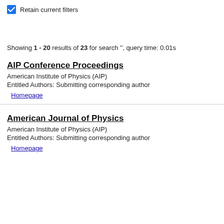Retain current filters
Showing 1 - 20 results of 23 for search '', query time: 0.01s
AIP Conference Proceedings
American Institute of Physics (AIP)
Entitled Authors: Submitting corresponding author
Homepage
American Journal of Physics
American Institute of Physics (AIP)
Entitled Authors: Submitting corresponding author
Homepage